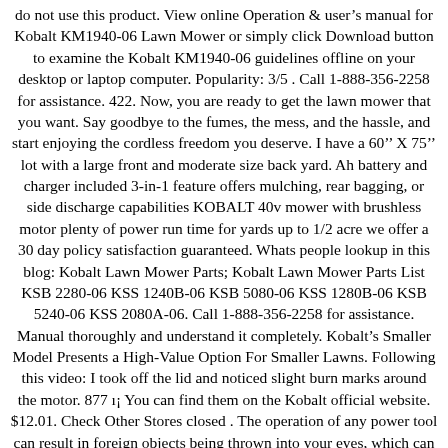do not use this product. View online Operation & user's manual for Kobalt KM1940-06 Lawn Mower or simply click Download button to examine the Kobalt KM1940-06 guidelines offline on your desktop or laptop computer. Popularity: 3/5 . Call 1-888-356-2258 for assistance. 422. Now, you are ready to get the lawn mower that you want. Say goodbye to the fumes, the mess, and the hassle, and start enjoying the cordless freedom you deserve. I have a 60â X 75â lot with a large front and moderate size back yard. Ah battery and charger included 3-in-1 feature offers mulching, rear bagging, or side discharge capabilities KOBALT 40v mower with brushless motor plenty of power run time for yards up to 1/2 acre we offer a 30 day policy satisfaction guaranteed. Whats people lookup in this blog: Kobalt Lawn Mower Parts; Kobalt Lawn Mower Parts List KSB 2280-06 KSS 1240B-06 KSB 5080-06 KSS 1280B-06 KSB 5240-06 KSS 2080A-06. Call 1-888-356-2258 for assistance. Manual thoroughly and understand it completely. Kobalt's Smaller Model Presents a High-Value Option For Smaller Lawns. Following this video: I took off the lid and noticed slight burn marks around the motor. 877 âı¡ You can find them on the Kobalt official website. $12.01. Check Other Stores closed . The operation of any power tool can result in foreign objects being thrown into your eyes, which can result in severe eye damage. To reduce the risk ot electric shock. Get performance ratings and pricing on the Kobalt (Lowe's) KM2180B-06 lawn mower & tractor. All ... Kobalt 72" Wood